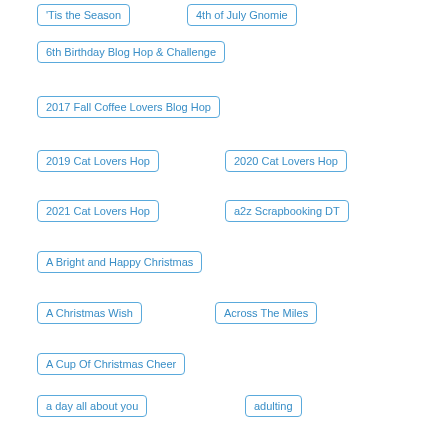'Tis the Season
4th of July Gnomie
6th Birthday Blog Hop & Challenge
2017 Fall Coffee Lovers Blog Hop
2019 Cat Lovers Hop
2020 Cat Lovers Hop
2021 Cat Lovers Hop
a2z Scrapbooking DT
A Bright and Happy Christmas
A Christmas Wish
Across The Miles
A Cup Of Christmas Cheer
a day all about you
adulting
Adventure Awaits
Advice from a Sunflower